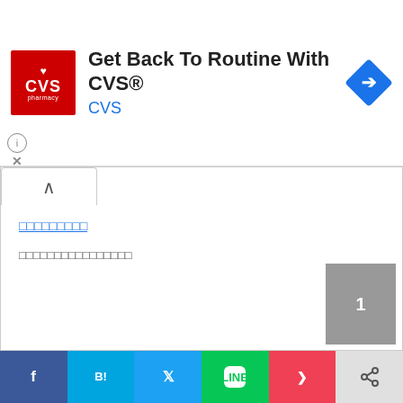[Figure (screenshot): CVS Pharmacy advertisement banner with logo, title 'Get Back To Routine With CVS®', subtitle 'CVS', and navigation arrow icon]
ααααααααα (corrupted/tofu text as link)
αααααααααααααααα (corrupted/tofu body text)
[Figure (screenshot): Social sharing bar with Facebook, Hatena Bookmark, Twitter, LINE, Pocket, and share buttons]